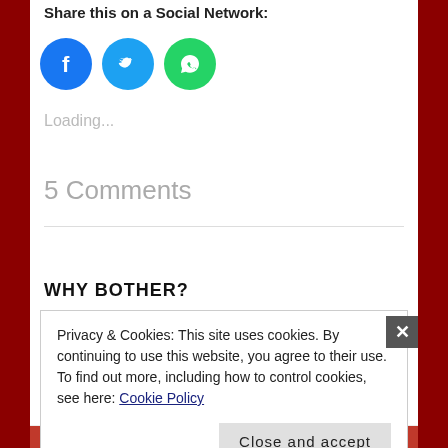Share this on a Social Network:
[Figure (illustration): Three circular social media share buttons: Facebook (blue), Twitter (light blue), WhatsApp (green)]
Loading...
5 Comments
WHY BOTHER?
Privacy & Cookies: This site uses cookies. By continuing to use this website, you agree to their use.
To find out more, including how to control cookies, see here: Cookie Policy
Close and accept